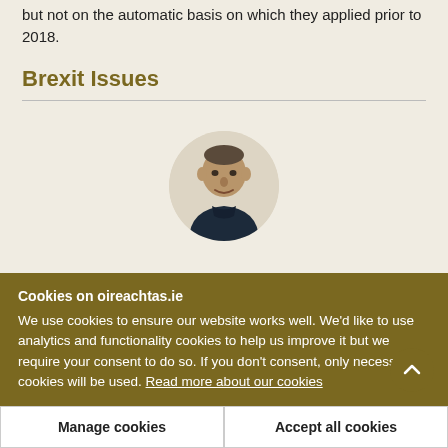but not on the automatic basis on which they applied prior to 2018.
Brexit Issues
[Figure (photo): Circular profile photo of a man wearing a dark shirt, against a light beige background.]
Cookies on oireachtas.ie
We use cookies to ensure our website works well. We'd like to use analytics and functionality cookies to help us improve it but we require your consent to do so. If you don't consent, only necessary cookies will be used. Read more about our cookies
Manage cookies
Accept all cookies